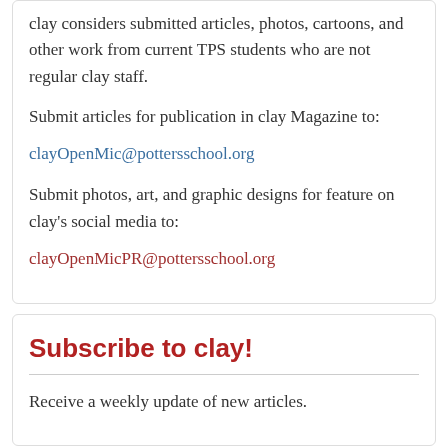clay considers submitted articles, photos, cartoons, and other work from current TPS students who are not regular clay staff.
Submit articles for publication in clay Magazine to:
clayOpenMic@pottersschool.org
Submit photos, art, and graphic designs for feature on clay's social media to:
clayOpenMicPR@pottersschool.org
Subscribe to clay!
Receive a weekly update of new articles.